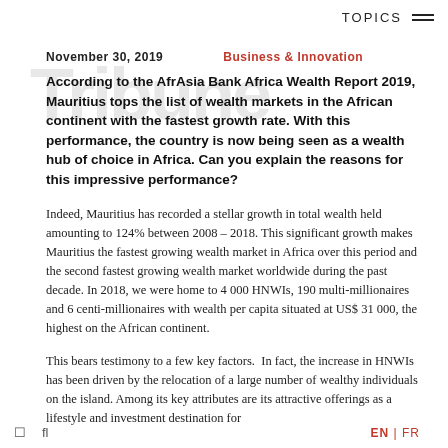TOPICS
November 30, 2019   Business & Innovation
According to the AfrAsia Bank Africa Wealth Report 2019, Mauritius tops the list of wealth markets in the African continent with the fastest growth rate. With this performance, the country is now being seen as a wealth hub of choice in Africa. Can you explain the reasons for this impressive performance?
Indeed, Mauritius has recorded a stellar growth in total wealth held amounting to 124% between 2008 – 2018. This significant growth makes Mauritius the fastest growing wealth market in Africa over this period and the second fastest growing wealth market worldwide during the past decade. In 2018, we were home to 4 000 HNWIs, 190 multi-millionaires and 6 centi-millionaires with wealth per capita situated at US$ 31 000, the highest on the African continent.
This bears testimony to a few key factors.  In fact, the increase in HNWIs has been driven by the relocation of a large number of wealthy individuals on the island. Among its key attributes are its attractive offerings as a lifestyle and investment destination for
EN | FR